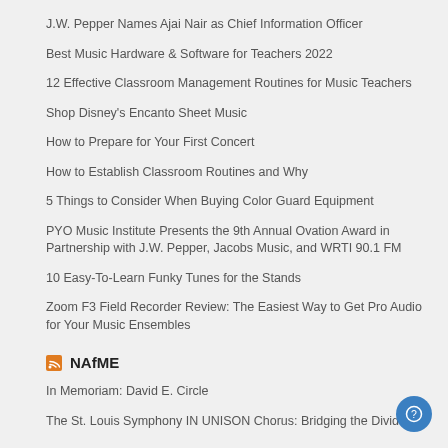J.W. Pepper Names Ajai Nair as Chief Information Officer
Best Music Hardware & Software for Teachers 2022
12 Effective Classroom Management Routines for Music Teachers
Shop Disney's Encanto Sheet Music
How to Prepare for Your First Concert
How to Establish Classroom Routines and Why
5 Things to Consider When Buying Color Guard Equipment
PYO Music Institute Presents the 9th Annual Ovation Award in Partnership with J.W. Pepper, Jacobs Music, and WRTI 90.1 FM
10 Easy-To-Learn Funky Tunes for the Stands
Zoom F3 Field Recorder Review: The Easiest Way to Get Pro Audio for Your Music Ensembles
NAfME
In Memoriam: David E. Circle
The St. Louis Symphony IN UNISON Chorus: Bridging the Divide